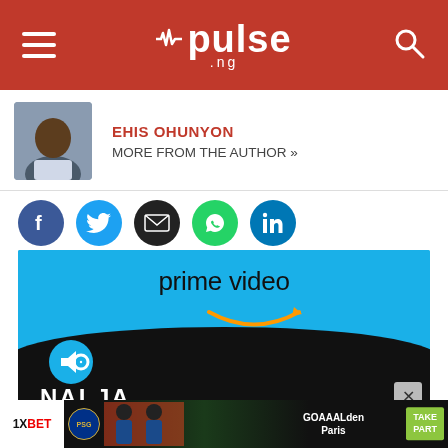pulse .ng
EHIS OHUNYON
MORE FROM THE AUTHOR »
[Figure (infographic): Social sharing icons: Facebook, Twitter, Email, WhatsApp, LinkedIn]
[Figure (photo): Amazon Prime Video Naija advertisement banner with prime video logo and Amazon smile, black blob shape, and NAI.JA text]
[Figure (infographic): 1XBET GOAAALden Paris advertisement banner with Take Part button]